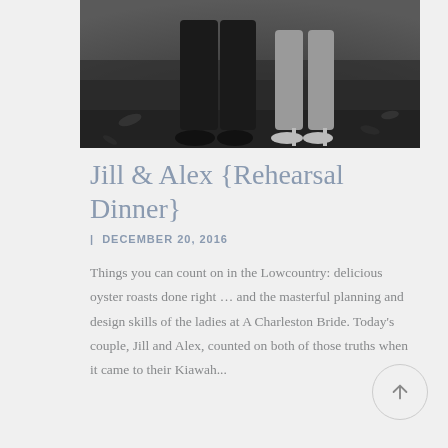[Figure (photo): Black and white photo showing the lower bodies/legs and feet of a couple standing outdoors on grass/leaves. The person on the left wears dark pants and dark shoes, the person on the right wears a dress and heeled sandals.]
Jill & Alex {Rehearsal Dinner}
| DECEMBER 20, 2016
Things you can count on in the Lowcountry: delicious oyster roasts done right … and the masterful planning and design skills of the ladies at A Charleston Bride. Today's couple, Jill and Alex, counted on both of those truths when it came to their Kiawah...